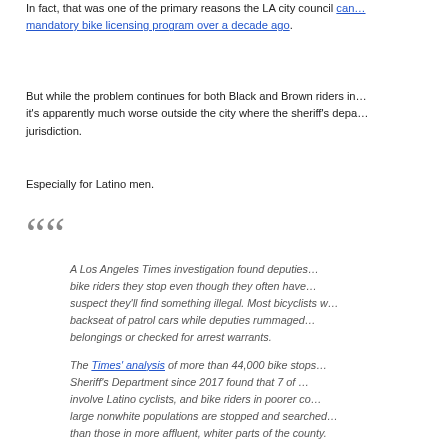In fact, that was one of the primary reasons the LA city council [can... mandatory bike licensing program over a decade ago].
But while the problem continues for both Black and Brown riders in..., it's apparently much worse outside the city where the sheriff's depa... jurisdiction.
Especially for Latino men.
A Los Angeles Times investigation found deputies... bike riders they stop even though they often have... suspect they'll find something illegal. Most bicyclists w... backseat of patrol cars while deputies rummaged... belongings or checked for arrest warrants.
The Times' analysis of more than 44,000 bike stops... Sheriff's Department since 2017 found that 7 of... involve Latino cyclists, and bike riders in poorer co... large nonwhite populations are stopped and searched... than those in more affluent, whiter parts of the county.
For all the stops and searches, deputies rarely...